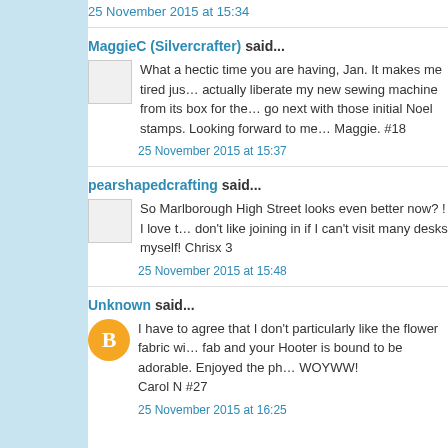25 November 2015 at 15:34
MaggieC (Silvercrafter) said...
What a hectic time you are having, Jan. It makes me tired just... actually liberate my new sewing machine from its box for the... go next with those initial Noel stamps. Looking forward to me... Maggie. #18
25 November 2015 at 15:37
pearshapedcrafting said...
So Marlborough High Street looks even better now? ! I love t... don't like joining in if I can't visit many desks myself! Chrisx 3
25 November 2015 at 15:48
Unknown said...
I have to agree that I don't particularly like the flower fabric wi... fab and your Hooter is bound to be adorable. Enjoyed the ph... WOYWW!
Carol N #27
25 November 2015 at 16:25